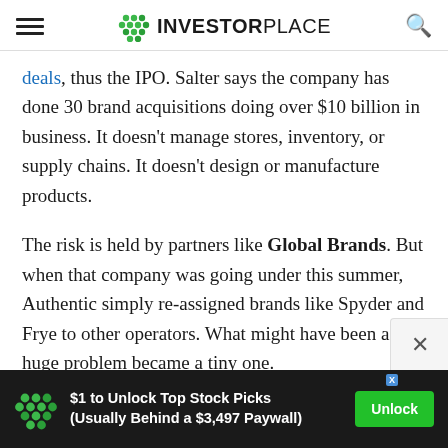INVESTORPLACE
deals, thus the IPO. Salter says the company has done 30 brand acquisitions doing over $10 billion in business. It doesn't manage stores, inventory, or supply chains. It doesn't design or manufacture products.
The risk is held by partners like Global Brands. But when that company was going under this summer, Authentic simply re-assigned brands like Spyder and Frye to other operators. What might have been a huge problem became a tiny one.
[Figure (other): Advertisement banner: $1 to Unlock Top Stock Picks (Usually Behind a $3,497 Paywall) with Unlock button, InvestorPlace logo, dark background]